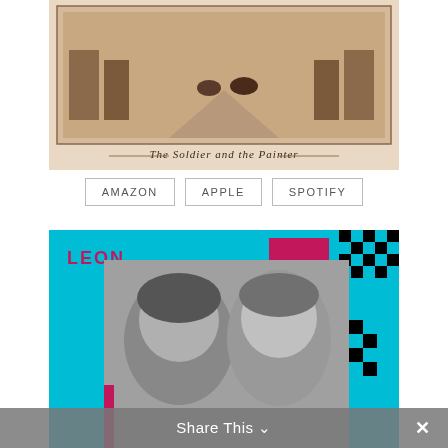[Figure (photo): Sepia-toned vintage image showing a wide avenue or esplanade with carriages and figures. Below the image, italic script reads 'The Soldier and the Painter'.]
AMAZON   APPLE   SPOTIFY
[Figure (photo): Black and white portrait photo of two people (a man and a woman) against a cyan/turquoise background with decorative magenta and black checkerboard graphic elements. The word 'LEON' appears in magenta text in the top left.]
Share This  ∨